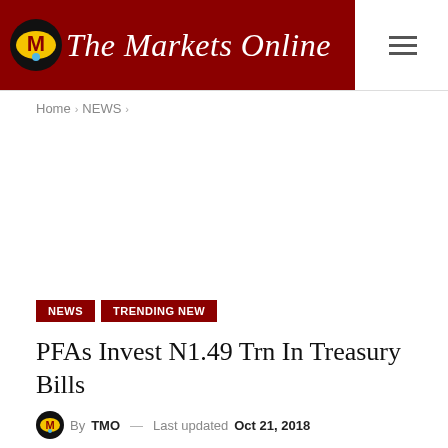The Markets Online
Home › NEWS ›
[Figure (other): Advertisement / blank ad space]
NEWS  TRENDING NEW
PFAs Invest N1.49 Trn In Treasury Bills
By TMO — Last updated Oct 21, 2018